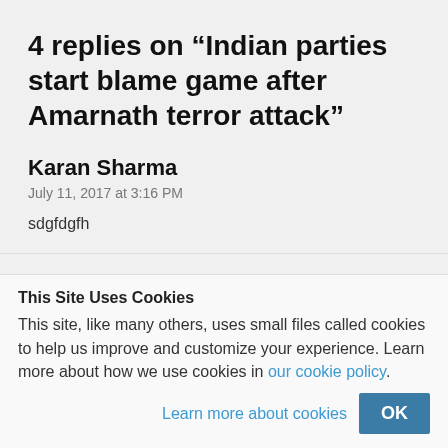4 replies on “Indian parties start blame game after Amarnath terror attack”
Karan Sharma
July 11, 2017 at 3:16 PM
sdgfdgfh
Appu Saurav
This Site Uses Cookies
This site, like many others, uses small files called cookies to help us improve and customize your experience. Learn more about how we use cookies in our cookie policy.
Learn more about cookies
OK